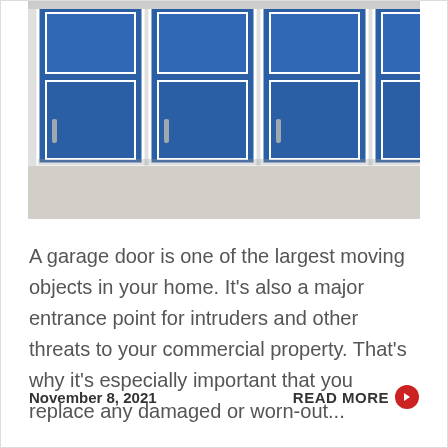[Figure (photo): Row of blue commercial garage doors on a building exterior]
A garage door is one of the largest moving objects in your home. It's also a major entrance point for intruders and other threats to your commercial property. That's why it's especially important that you replace any damaged or worn-out...
November 8, 2021
READ MORE